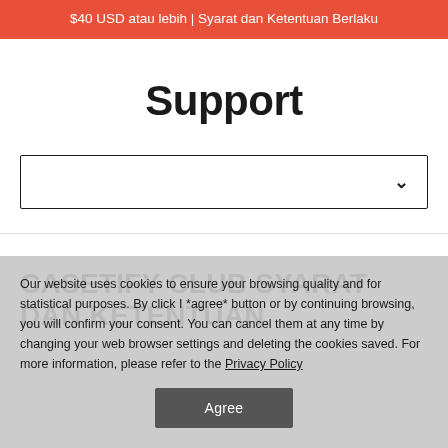$40 USD atau lebih | Syarat dan Ketentuan Berlaku
Support
[Figure (other): Search/dropdown input box with chevron icon]
CASETIFY CLUB SYARAT DAN KETENTUAN
Our website uses cookies to ensure your browsing quality and for statistical purposes. By click I *agree* button or by continuing browsing, you will confirm your consent. You can cancel them at any time by changing your web browser settings and deleting the cookies saved. For more information, please refer to the Privacy Policy
Agree